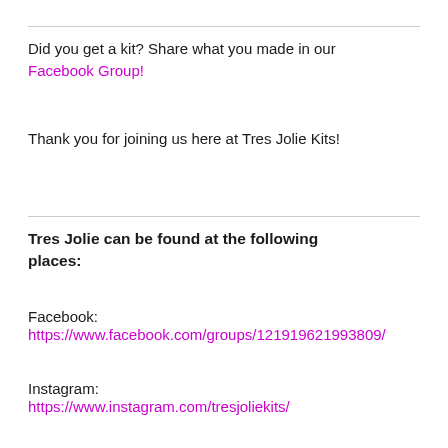Did you get a kit? Share what you made in our Facebook Group!
Thank you for joining us here at Tres Jolie Kits!
Tres Jolie can be found at the following places:
Facebook:
https://www.facebook.com/groups/121919621993809/
Instagram:
https://www.instagram.com/tresjoliekits/